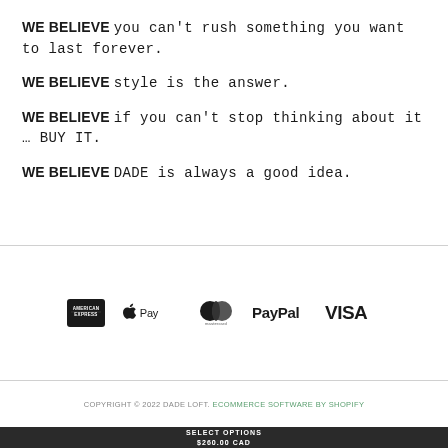WE BELIEVE you can't rush something you want to last forever.
WE BELIEVE style is the answer.
WE BELIEVE if you can't stop thinking about it … BUY IT.
WE BELIEVE DADE is always a good idea.
[Figure (logo): Payment method logos: American Express, Apple Pay, Mastercard, PayPal, Visa]
COPYRIGHT © 2022 DADE LOFT. ECOMMERCE SOFTWARE BY SHOPIFY
SELECT OPTIONS $260.00 CAD